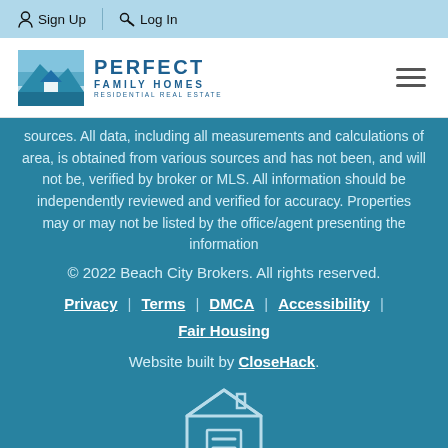Sign Up  Log In
[Figure (logo): Perfect Family Homes Residential Real Estate logo with mountain/house graphic in blue tones]
sources. All data, including all measurements and calculations of area, is obtained from various sources and has not been, and will not be, verified by broker or MLS. All information should be independently reviewed and verified for accuracy. Properties may or may not be listed by the office/agent presenting the information
© 2022 Beach City Brokers. All rights reserved.
Privacy  Terms  DMCA  Accessibility  Fair Housing
Website built by CloseHack.
[Figure (logo): Equal Housing Opportunity logo - house outline with equals sign inside, text EQUAL HOUSING OPPORTUNITY below]